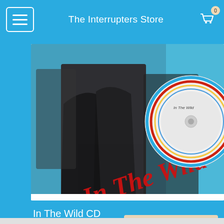The Interrupters Store
[Figure (photo): Product photo showing 'In The Wild' CD — album cover with band members (woman in black jacket laughing, man in black t-shirt smiling) with red cursive 'In The Wild' text overlay, and CD disc visible on the right side.]
In The Wild CD
$12.99
Add To Cart 🛒